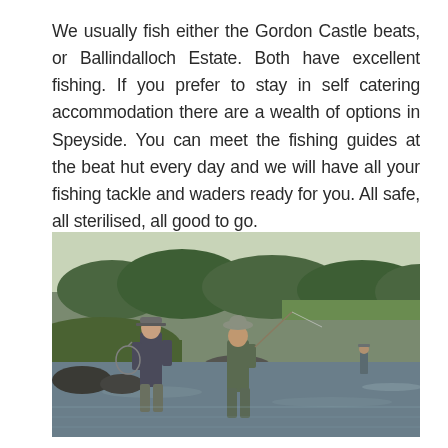We usually fish either the Gordon Castle beats, or Ballindalloch Estate. Both have excellent fishing. If you prefer to stay in self catering accommodation there are a wealth of options in Speyside. You can meet the fishing guides at the beat hut every day and we will have all your fishing tackle and waders ready for you. All safe, all sterilised, all good to go.
[Figure (photo): Two people standing in a river fishing with waders and fishing rods. Lush green trees and riverbank in the background. A third person is visible further in the river in the background.]